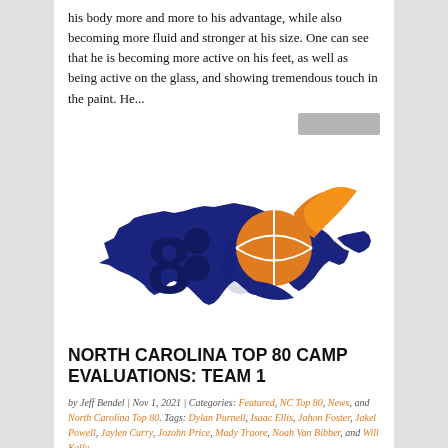his body more and more to his advantage, while also becoming more fluid and stronger at his size. One can see that he is becoming more active on his feet, as well as being active on the glass, and showing tremendous touch in the paint.  He...
[Figure (logo): North Carolina Top 80 logo featuring the state of North Carolina silhouette in dark blue with a large '80' and an orange basketball swoosh graphic]
NORTH CAROLINA TOP 80 CAMP EVALUATIONS: TEAM 1
by Jeff Bendel | Nov 1, 2021 | Categories: Featured, NC Top 80, News, and North Carolina Top 80. Tags: Dylan Purnell, Isaac Ellis, Jahon Foster, Jakel Powell, Jaylen Curry, Jozohn Price, Mady Traore, Noah Van Bibber, and Will Kelly.
Team 1 Coach: Robinson #1: 5'8 '26 Isaac Ellis